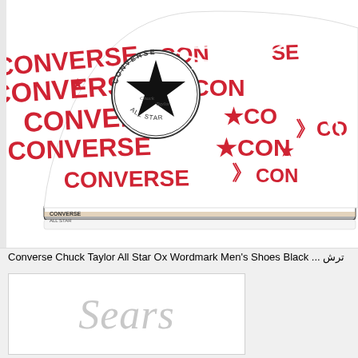[Figure (photo): Converse Chuck Taylor All Star high-top sneaker with white canvas upper covered in repeating red CONVERSE wordmark text and logos, white rubber sole, white laces. Converse Chuck Taylor All Star circular badge visible on ankle.]
Converse Chuck Taylor All Star Ox Wordmark Men's Shoes Black ... شرت
[Figure (logo): Sears logo in light gray italic serif font inside a white box with thin border]